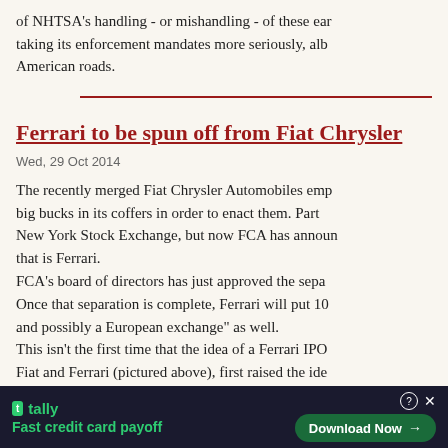of NHTSA's handling - or mishandling - of these ear taking its enforcement mandates more seriously, alb American roads.
Ferrari to be spun off from Fiat Chrysler
Wed, 29 Oct 2014
The recently merged Fiat Chrysler Automobiles emp big bucks in its coffers in order to enact them. Part New York Stock Exchange, but now FCA has announ that is Ferrari. FCA's board of directors has just approved the sepa Once that separation is complete, Ferrari will put 10 and possibly a European exchange" as well. This isn't the first time that the idea of a Ferrari IPO Fiat and Ferrari (pictured above), first raised the ide nixed the idea, but now that he's been discharged, it